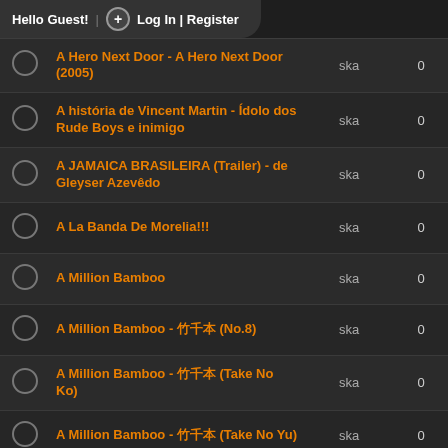Hello Guest! | + Log In | Register
|  | Title | Genre | Count |
| --- | --- | --- | --- |
| ○ | A Hero Next Door - A Hero Next Door (2005) | ska | 0 |
| ○ | A história de Vincent Martin - Ídolo dos Rude Boys e inimigo | ska | 0 |
| ○ | A JAMAICA BRASILEIRA (Trailer) - de Gleyser Azevêdo | ska | 0 |
| ○ | A La Banda De Morelia!!! | ska | 0 |
| ○ | A Million Bamboo | ska | 0 |
| ○ | A Million Bamboo - 竹千本 (No.8) | ska | 0 |
| ○ | A Million Bamboo - 竹千本 (Take No Ko) | ska | 0 |
| ○ | A Million Bamboo - 竹千本 (Take No Yu) | ska | 0 |
| ○ | A New Day - Alton Ellis | ska | 0 |
| ○ | A reggae tribute to the beatles vol. 1 | ska | 0 |
| ○ | A Reggae Tribute To The Beatles Vol.1 | ska | 0 |